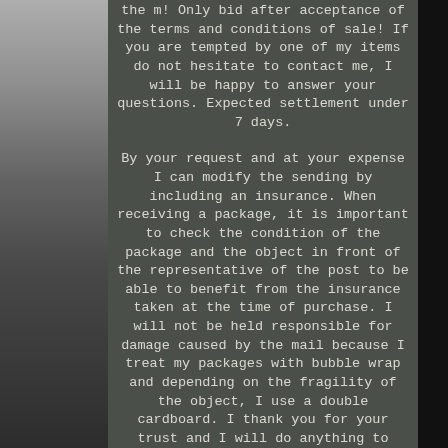the m! Only bid after acceptance of the terms and conditions of sale! If you are tempted by one of my items do not hesitate to contact me, I will be happy to answer your questions. Expected settlement under 7 days.
By your request and at your expense I can modify the sending by including an insurance. When receiving a package, it is important to check the condition of the package and the object in front of the representative of the post to be able to benefit from the insurance taken at the time of purchase. I will not be held responsible for damage caused by the mail because I treat my packages with bubble wrap and depending on the fragility of the object, I use a double cardboard. I thank you for your trust and I will do anything to satisfy you! Feel free to put my shop in your favorites, new items are on sale regularly.
The item "08b21 old sign tap bronze craft plumber plumber early xx e" is on sale since Monday, August 10, 2015. It is in the category "art, antiques \ objects of the twentieth, recent".